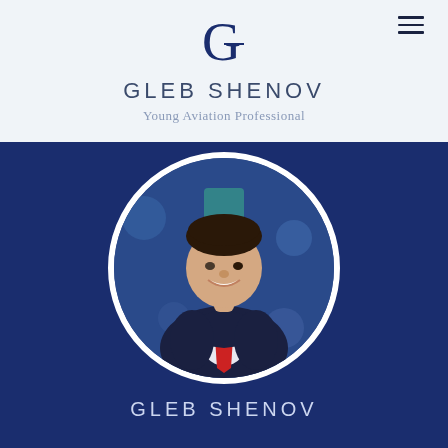[Figure (logo): Stylized G letter logo in dark navy]
GLEB SHENOV
Young Aviation Professional
[Figure (photo): Professional headshot of a young man in a dark suit with red tie, smiling, displayed in a circular frame on a dark navy blue background]
GLEB SHENOV